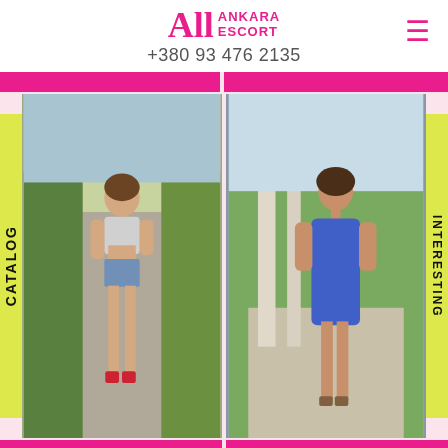All ANKARA ESCORT +380 93 476 2135
[Figure (photo): Young woman in crop top and denim shorts standing on a rural road, wearing red platform heels]
CATALOG
[Figure (photo): Woman in a blue halter dress standing outdoors near ancient columns with greenery in background]
INTERESTING